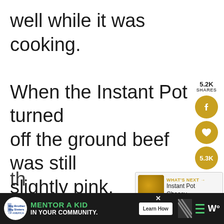well while it was cooking.

When the Instant Pot turned off the ground beef was still slightly pink.

I added some condensed chicken broth and water to the
[Figure (infographic): Social share widget on the right side showing 5.2K SHARES count, Facebook share button (gold circle with f icon), heart/save button (gold circle with heart icon), 5.3K count circle (gold), and share button (gold rounded rectangle with share icon and + symbol)]
[Figure (infographic): WHAT'S NEXT arrow promo box showing a food image thumbnail and text 'Instant Pot Cheesy...']
[Figure (infographic): Advertisement banner at bottom: Big Brothers Big Sisters logo, green text 'MENTOR A KID IN YOUR COMMUNITY.' with Learn How button, close X button, and media icons on right (striped graphic, hamburger menu, W logo)]